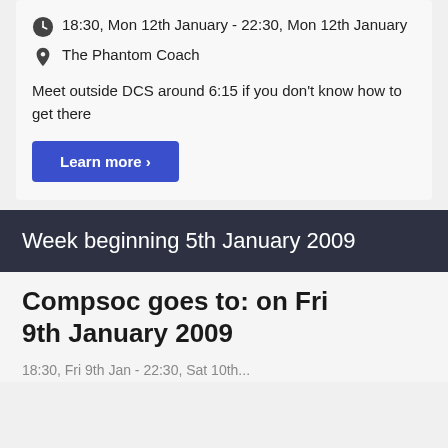18:30, Mon 12th January - 22:30, Mon 12th January
The Phantom Coach
Meet outside DCS around 6:15 if you don't know how to get there
Learn more >
Week beginning 5th January 2009
Compsoc goes to: on Fri 9th January 2009